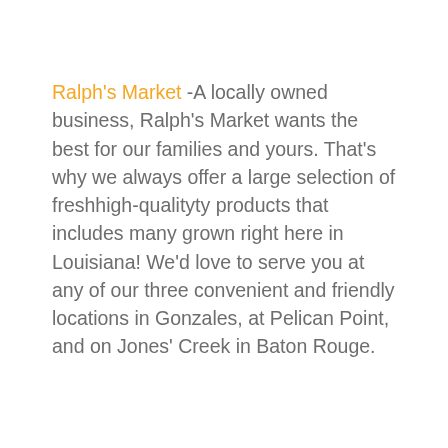Ralph's Market -A locally owned business, Ralph's Market wants the best for our families and yours. That's why we always offer a large selection of freshhigh-qualityty products that includes many grown right here in Louisiana! We'd love to serve you at any of our three convenient and friendly locations in Gonzales, at Pelican Point, and on Jones' Creek in Baton Rouge.